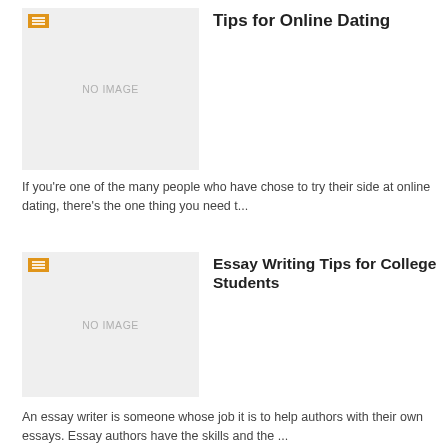[Figure (illustration): Placeholder image with orange icon and NO IMAGE text for Tips for Online Dating article]
Tips for Online Dating
If you're one of the many people who have chose to try their side at online dating, there's the one thing you need t...
[Figure (illustration): Placeholder image with orange icon and NO IMAGE text for Essay Writing Tips for College Students article]
Essay Writing Tips for College Students
An essay writer is someone whose job it is to help authors with their own essays. Essay authors have the skills and the ...
[Figure (illustration): Placeholder image with orange icon and NO IMAGE text for Harassment in Cyberspace article]
Harassment in Cyberspace – Are Women of all ages Being Targeted Online?